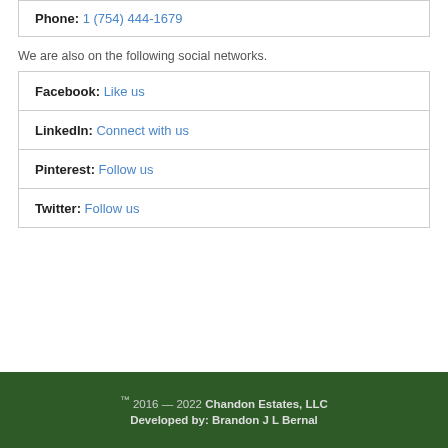Phone: 1 (754) 444-1679
We are also on the following social networks.
Facebook: Like us
LinkedIn: Connect with us
Pinterest: Follow us
Twitter: Follow us
™ 2016 — 2022 Chandon Estates, LLC
Developed by: Brandon J L Bernal